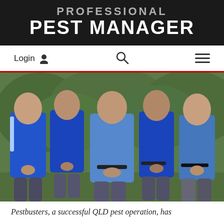PROFESSIONAL PEST MANAGER
Login  🔍  ☰
[Figure (photo): Five men in blue uniforms/polo shirts standing together outdoors in front of green foliage, likely pest control workers.]
Pestbusters, a successful QLD pest operation, has